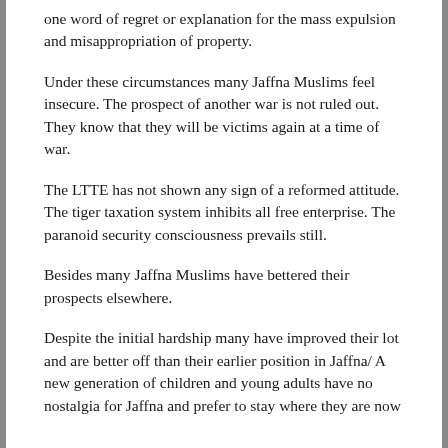one word of regret or explanation for the mass expulsion and misappropriation of property.
Under these circumstances many Jaffna Muslims feel insecure. The prospect of another war is not ruled out. They know that they will be victims again at a time of war.
The LTTE has not shown any sign of a reformed attitude. The tiger taxation system inhibits all free enterprise. The paranoid security consciousness prevails still.
Besides many Jaffna Muslims have bettered their prospects elsewhere.
Despite the initial hardship many have improved their lot and are better off than their earlier position in Jaffna/ A new generation of children and young adults have no nostalgia for Jaffna and prefer to stay where they are now